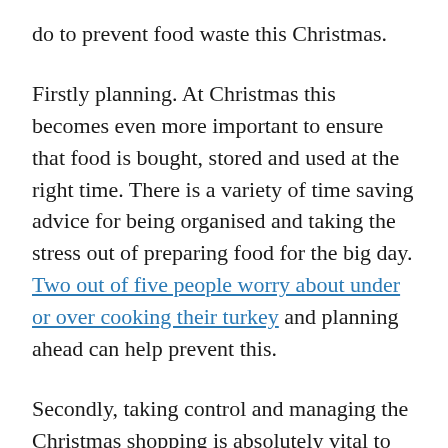do to prevent food waste this Christmas.
Firstly planning. At Christmas this becomes even more important to ensure that food is bought, stored and used at the right time. There is a variety of time saving advice for being organised and taking the stress out of preparing food for the big day. Two out of five people worry about under or over cooking their turkey and planning ahead can help prevent this.
Secondly, taking control and managing the Christmas shopping is absolutely vital to ensure all the essentials are covered but at the same